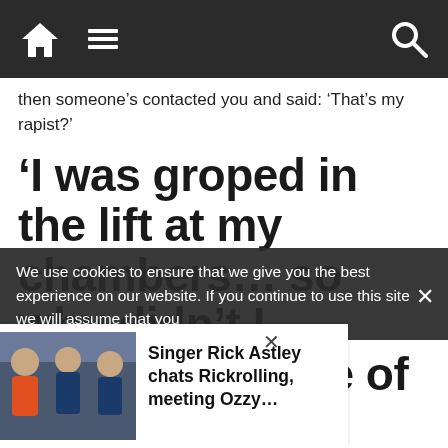Navigation bar with home icon, menu icon, and search icon
then someone’s contacted you and said: ‘That’s my rapist?’
‘I was groped in the lift at my chambers… so why didn’t I complain?’ One of Britain’s top female
We use cookies to ensure that we give you the best experience on our website. If you continue to use this site we will assume that you
Singer Rick Astley chats Rickrolling, meeting Ozzy…